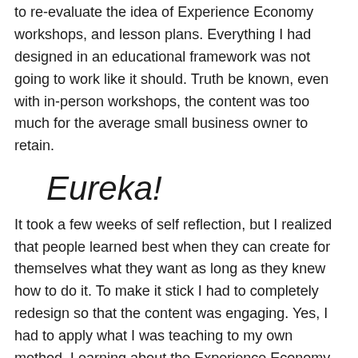to re-evaluate the idea of Experience Economy workshops, and lesson plans. Everything I had designed in an educational framework was not going to work like it should. Truth be known, even with in-person workshops, the content was too much for the average small business owner to retain.
Eureka!
It took a few weeks of self reflection, but I realized that people learned best when they can create for themselves what they want as long as they knew how to do it. To make it stick I had to completely redesign so that the content was engaging. Yes, I had to apply what I was teaching to my own method. Learning about the Experience Economy and Experience Design had to be an experience itself.